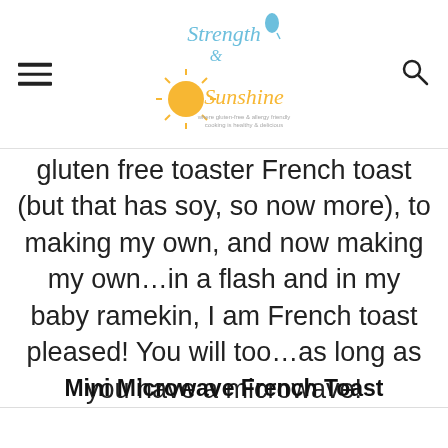Strength & Sunshine — site logo with hamburger menu and search icon
gluten free toaster French toast (but that has soy, so now more), to making my own, and now making my own…in a flash and in my baby ramekin, I am French toast pleased! You will too…as long as you have a microwave!
Mini Microwave French Toast